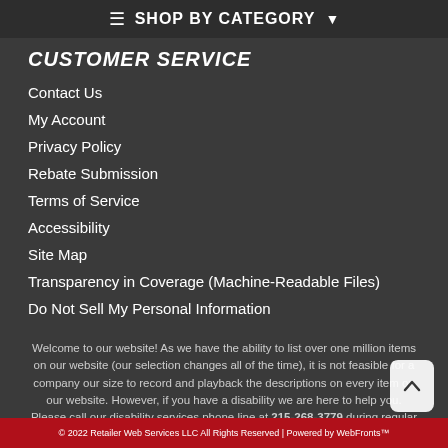≡ SHOP BY CATEGORY ▾
CUSTOMER SERVICE
Contact Us
My Account
Privacy Policy
Rebate Submission
Terms of Service
Accessibility
Site Map
Transparency in Coverage (Machine-Readable Files)
Do Not Sell My Personal Information
Welcome to our website! As we have the ability to list over one million items on our website (our selection changes all of the time), it is not feasible for a company our size to record and playback the descriptions on every item on our website. However, if you have a disability we are here to help you. Please call our disability services phone line at 215-268-3779 during regular business hours and one of our kind and friendly personal shoppers will help you
© 2022 Retailer Web Services LLC All Rights Reserved | Powered by WebFronts™